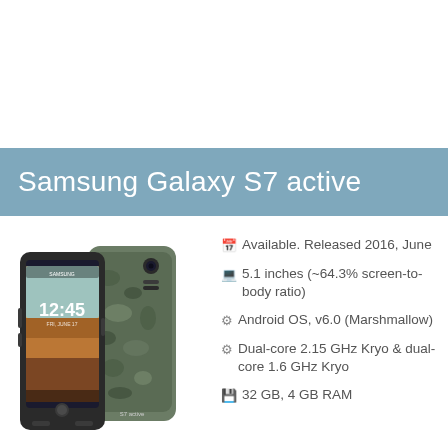Samsung Galaxy S7 active
[Figure (photo): Samsung Galaxy S7 active smartphone shown from front and back angles, front displaying 12:45 time on screen, back showing camouflage pattern]
Available. Released 2016, June
5.1 inches (~64.3% screen-to-body ratio)
Android OS, v6.0 (Marshmallow)
Dual-core 2.15 GHz Kryo & dual-core 1.6 GHz Kryo
32 GB, 4 GB RAM